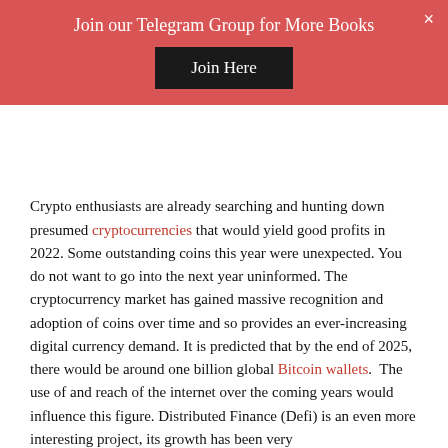Join our Telegram Group for More Books
Join Here
Crypto enthusiasts are already searching and hunting down presumed cryptocurrencies that would yield good profits in 2022. Some outstanding coins this year were unexpected. You do not want to go into the next year uninformed. The cryptocurrency market has gained massive recognition and adoption of coins over time and so provides an ever-increasing digital currency demand. It is predicted that by the end of 2025, there would be around one billion global Bitcoin wallets.  The use of and reach of the internet over the coming years would influence this figure. Distributed Finance (Defi) is an even more interesting project, its growth has been very